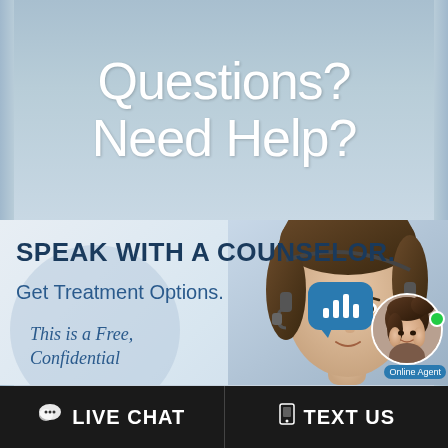Questions?
Need Help?
SPEAK WITH A COUNSELOR.
Get Treatment Options.
This is a Free, Confidential
[Figure (illustration): Advertisement banner showing a female counselor/agent with headset, a chat bubble with bar chart icon, a circular avatar of an online agent with a green online indicator dot and 'Online Agent' label]
LIVE CHAT
TEXT US